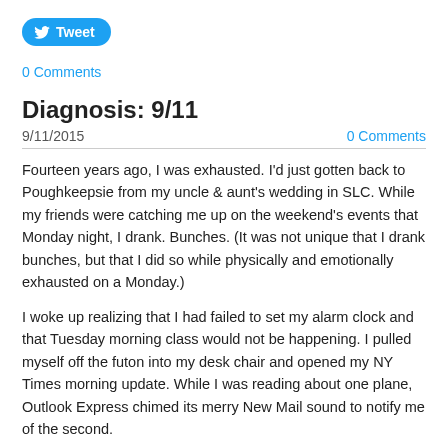[Figure (other): Twitter Tweet button with bird icon]
0 Comments
Diagnosis: 9/11
9/11/2015
0 Comments
Fourteen years ago, I was exhausted. I'd just gotten back to Poughkeepsie from my uncle & aunt's wedding in SLC. While my friends were catching me up on the weekend's events that Monday night, I drank. Bunches. (It was not unique that I drank bunches, but that I did so while physically and emotionally exhausted on a Monday.)
I woke up realizing that I had failed to set my alarm clock and that Tuesday morning class would not be happening. I pulled myself off the futon into my desk chair and opened my NY Times morning update. While I was reading about one plane, Outlook Express chimed its merry New Mail sound to notify me of the second.
I wandered out into the living room. I wasn't the only housemate